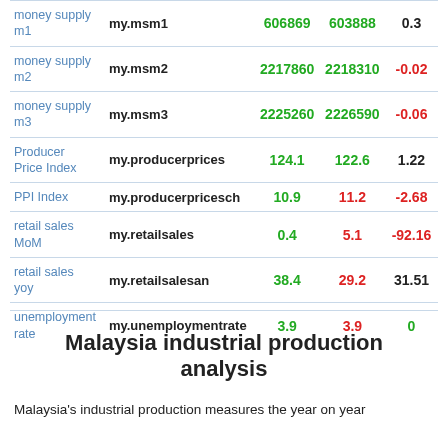|  |  |  |  |  |
| --- | --- | --- | --- | --- |
| money supply m1 | my.msm1 | 606869 | 603888 | 0.3 |
| money supply m2 | my.msm2 | 2217860 | 2218310 | -0.02 |
| money supply m3 | my.msm3 | 2225260 | 2226590 | -0.06 |
| Producer Price Index | my.producerprices | 124.1 | 122.6 | 1.22 |
| PPI Index | my.producerpricesch | 10.9 | 11.2 | -2.68 |
| retail sales MoM | my.retailsales | 0.4 | 5.1 | -92.16 |
| retail sales yoy | my.retailsalesan | 38.4 | 29.2 | 31.51 |
| unemployment rate | my.unemploymentrate | 3.9 | 3.9 | 0 |
Malaysia industrial production analysis
Malaysia's industrial production measures the year on year